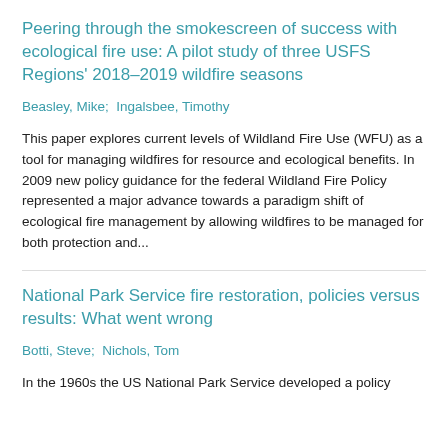Peering through the smokescreen of success with ecological fire use: A pilot study of three USFS Regions’ 2018–2019 wildfire seasons
Beasley, Mike; Ingalsbee, Timothy
This paper explores current levels of Wildland Fire Use (WFU) as a tool for managing wildfires for resource and ecological benefits. In 2009 new policy guidance for the federal Wildland Fire Policy represented a major advance towards a paradigm shift of ecological fire management by allowing wildfires to be managed for both protection and...
National Park Service fire restoration, policies versus results: What went wrong
Botti, Steve; Nichols, Tom
In the 1960s the US National Park Service developed a policy